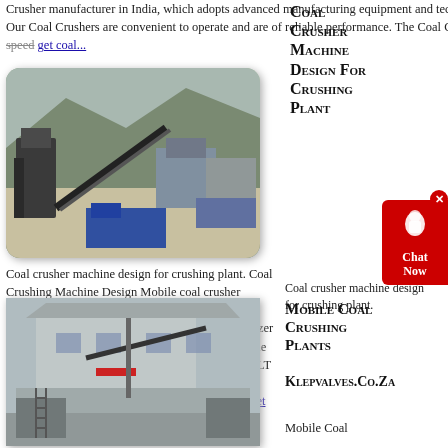Crusher manufacturer in India, which adopts advanced manufacturing equipment and technology to produce various crushing machines. Our Coal Crushers are convenient to operate and are of reliable performance. The Coal Crusher through some collisions between high-speed get coal...
[Figure (photo): Industrial coal crushing plant with conveyor belts and heavy machinery, outdoor quarry setting]
Coal Crusher Machine Design For Crushing Plant
Coal crusher machine design for crushing plant. Coal Crushing Machine Design Mobile coal crusher suppliers in TY design coal processing related machinecoal crusher machinecoal millcoal pulvarizer mobile coal crusher you can get the abundant whole coal Crushing Systems and Equipment, LNTFCC LT the largest supplier of Limestone Crushing Plant Safetymineral cement 400 800 TPH semimobile get more...
Mobile Coal Crushing Plants
Klepvalves.Co.Za
[Figure (photo): Mobile coal crushing plant facility with large industrial building, conveyor systems and processing equipment]
Mobile Coal